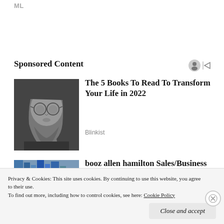ML
Sponsored Content
[Figure (photo): Black and white portrait photo of a young man with long hair and round glasses]
The 5 Books To Read To Transform Your Life in 2022
Blinkist
[Figure (photo): Partial image of books on a shelf with blue tones]
booz allen hamilton Sales/Business Developer...
Privacy & Cookies: This site uses cookies. By continuing to use this website, you agree to their use.
To find out more, including how to control cookies, see here: Cookie Policy
Close and accept